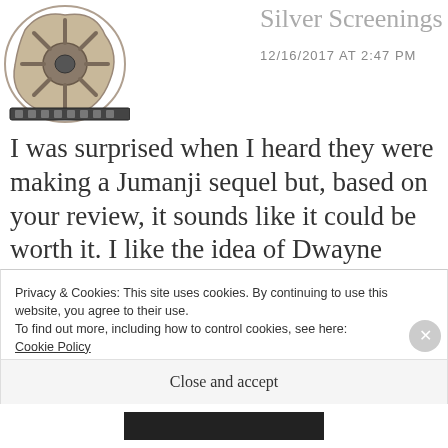Silver Screenings 12/16/2017 AT 2:47 PM
I was surprised when I heard they were making a Jumanji sequel but, based on your review, it sounds like it could be worth it. I like the idea of Dwayne Johnson having a character that's a little more timid because sometimes he can be a bit
Privacy & Cookies: This site uses cookies. By continuing to use this website, you agree to their use.
To find out more, including how to control cookies, see here: Cookie Policy
Close and accept